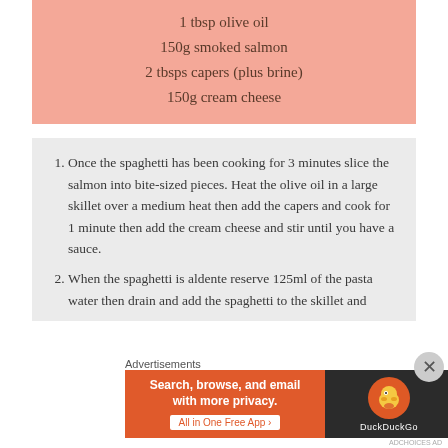1 tbsp olive oil
150g smoked salmon
2 tbsps capers (plus brine)
150g cream cheese
1. Once the spaghetti has been cooking for 3 minutes slice the salmon into bite-sized pieces. Heat the olive oil in a large skillet over a medium heat then add the capers and cook for 1 minute then add the cream cheese and stir until you have a sauce.
2. When the spaghetti is aldente reserve 125ml of the pasta water then drain and add the spaghetti to the skillet and
Advertisements
[Figure (other): DuckDuckGo advertisement banner: Search, browse, and email with more privacy. All in One Free App. DuckDuckGo logo on dark background.]